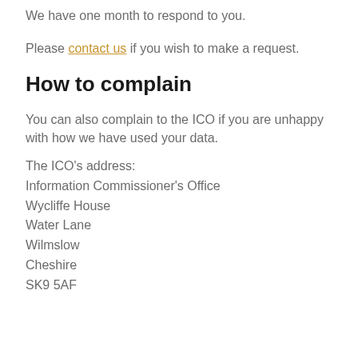We have one month to respond to you.
Please contact us if you wish to make a request.
How to complain
You can also complain to the ICO if you are unhappy with how we have used your data.
The ICO's address:
Information Commissioner's Office
Wycliffe House
Water Lane
Wilmslow
Cheshire
SK9 5AF